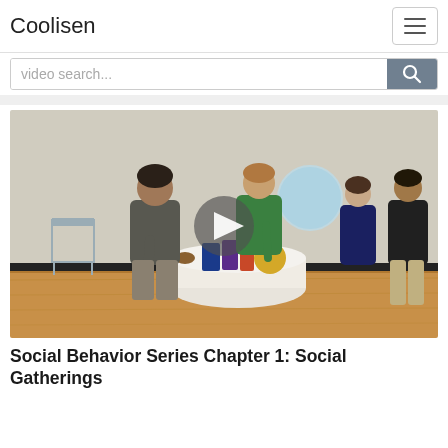Coolisen
video search...
[Figure (screenshot): Video thumbnail showing several people in a room with a white tablecloth-covered round table with food and drinks. A woman in green and a man in grey stand near the table. Two more people stand in the background. A play button is overlaid in the center.]
Social Behavior Series Chapter 1: Social Gatherings